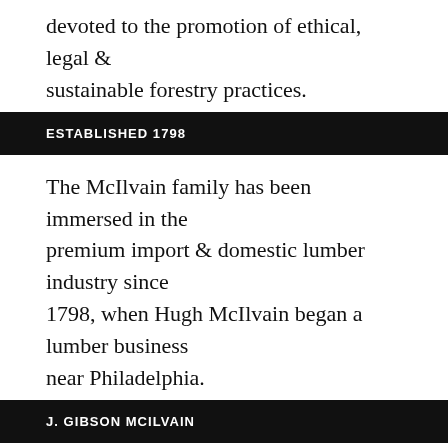devoted to the promotion of ethical, legal & sustainable forestry practices.
ESTABLISHED 1798
The McIlvain family has been immersed in the premium import & domestic lumber industry since 1798, when Hugh McIlvain began a lumber business near Philadelphia.
J. GIBSON MCILVAIN
10701 Philadelphia Road
White Marsh, MD 21162
Office: (410) 335-9600
Toll-Free: (800) 638-9100
Online contact form